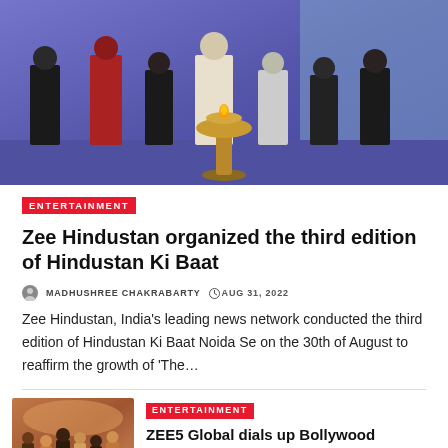[Figure (photo): Group of people standing on stage in front of a blue/purple backdrop, with a traditional brass lamp (diya) in the center foreground.]
ENTERTAINMENT
Zee Hindustan organized the third edition of Hindustan Ki Baat
MADHUSHREE CHAKRABARTY  AUG 31, 2022
Zee Hindustan, India's leading news network conducted the third edition of Hindustan Ki Baat Noida Se on the 30th of August to reaffirm the growth of 'The…
[Figure (photo): People gathered at an indoor event with a colorful backdrop, ribbon-cutting or inauguration ceremony.]
ENTERTAINMENT
ZEE5 Global dials up Bollywood quotient in the Middle East
MADHUSHREE CHAKRABARTY  AUG 31, 2022